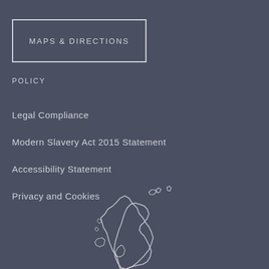MAPS & DIRECTIONS
POLICY
Legal Compliance
Modern Slavery Act 2015 Statement
Accessibility Statement
Privacy and Cookies
[Figure (map): Outline map of the United Kingdom (Great Britain and Northern Ireland) in white on dark blue-grey background, partially visible at bottom of page]